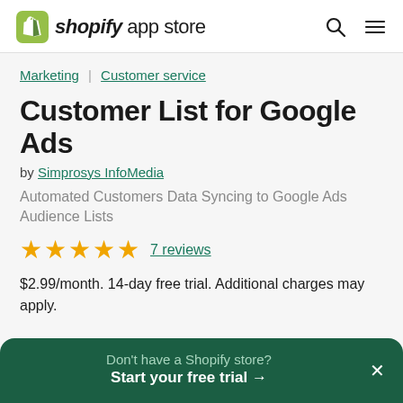shopify app store
Marketing | Customer service
Customer List for Google Ads
by Simprosys InfoMedia
Automated Customers Data Syncing to Google Ads Audience Lists
★★★★★ 7 reviews
$2.99/month. 14-day free trial. Additional charges may apply.
Don't have a Shopify store? Start your free trial →